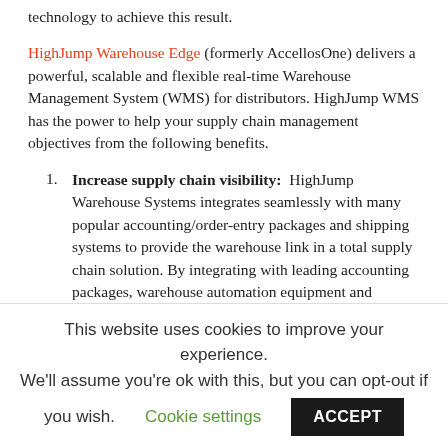technology to achieve this result.
HighJump Warehouse Edge (formerly AccellosOne) delivers a powerful, scalable and flexible real-time Warehouse Management System (WMS) for distributors. HighJump WMS has the power to help your supply chain management objectives from the following benefits.
Increase supply chain visibility: HighJump Warehouse Systems integrates seamlessly with many popular accounting/order-entry packages and shipping systems to provide the warehouse link in a total supply chain solution. By integrating with leading accounting packages, warehouse automation equipment and shipping systems, you connect your warehouse to the rest of your supply chain. The seamless transfer of information between
This website uses cookies to improve your experience. We'll assume you're ok with this, but you can opt-out if you wish. Cookie settings ACCEPT